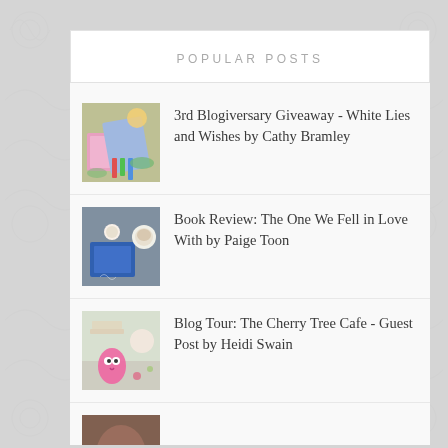POPULAR POSTS
[Figure (photo): Flat lay photo of colourful stationery, pencils, and a book on a wooden surface with tropical leaves]
3rd Blogiversary Giveaway - White Lies and Wishes by Cathy Bramley
[Figure (photo): Photo of an open blue book with a mug and heart decorations on a wooden background]
Book Review: The One We Fell in Love With by Paige Toon
[Figure (photo): Photo of craft/baking items including a pink owl decoration on a light background]
Blog Tour: The Cherry Tree Cafe - Guest Post by Heidi Swain
[Figure (photo): Partial photo at bottom of page, cropped]